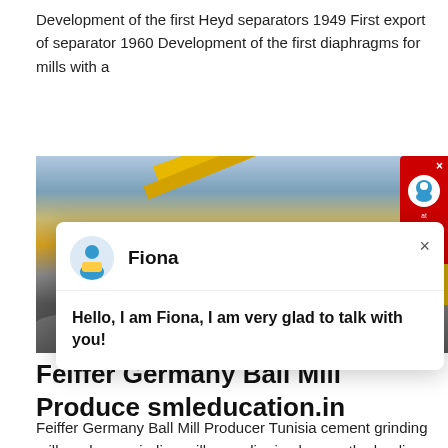Development of the first Heyd separators 1949 First export of separator 1960 Development of the first diaphragms for mills with a
get price
[Figure (photo): Photo of yellow industrial mining/crushing machinery with conveyor belt against a sky background, with rocks/gravel in foreground]
[Figure (screenshot): Chat popup widget showing avatar of agent named Fiona with message: Hello, I am Fiona, I am very glad to talk with you!]
Feiffer Germany Ball Mill Produce smleducation.in
Feiffer Germany Ball Mill Producer Tunisia cement grinding mill producer grinding mills supplier in uk e are the leading